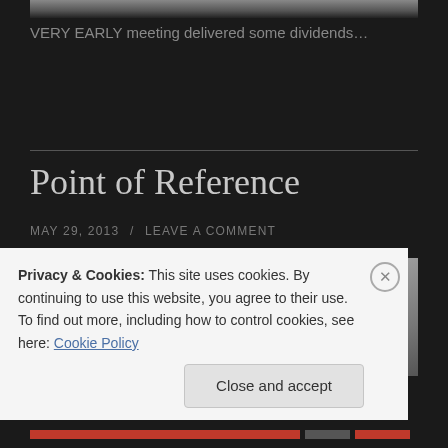[Figure (photo): Top partial image, dark gradient photo cropped at top of page]
VERY EARLY meeting delivered some dividends...
[Figure (photo): Grayscale photo below 'Point of Reference' post title]
Point of Reference
MAY 29, 2013 / LEAVE A COMMENT
Privacy & Cookies: This site uses cookies. By continuing to use this website, you agree to their use.
To find out more, including how to control cookies, see here: Cookie Policy
Close and accept